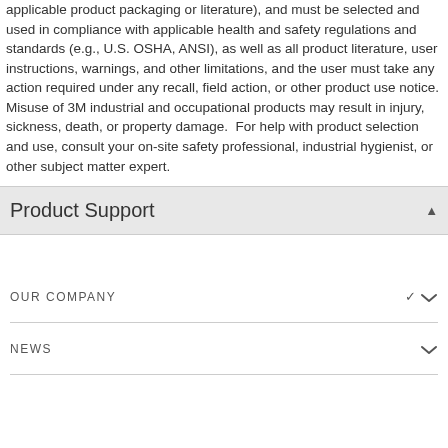applicable product packaging or literature), and must be selected and used in compliance with applicable health and safety regulations and standards (e.g., U.S. OSHA, ANSI), as well as all product literature, user instructions, warnings, and other limitations, and the user must take any action required under any recall, field action, or other product use notice. Misuse of 3M industrial and occupational products may result in injury, sickness, death, or property damage. For help with product selection and use, consult your on-site safety professional, industrial hygienist, or other subject matter expert.
Product Support
OUR COMPANY
NEWS